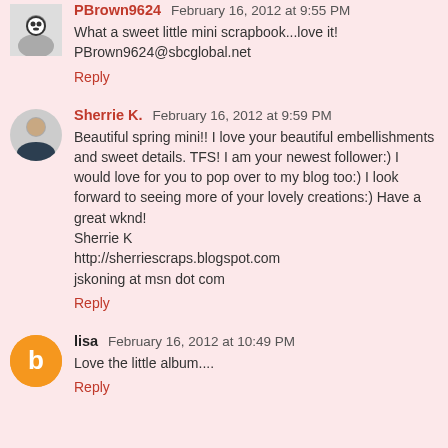PBrown9624 February 16, 2012 at 9:55 PM
What a sweet little mini scrapbook...love it!
PBrown9624@sbcglobal.net
Reply
Sherrie K. February 16, 2012 at 9:59 PM
Beautiful spring mini!! I love your beautiful embellishments and sweet details. TFS! I am your newest follower:) I would love for you to pop over to my blog too:) I look forward to seeing more of your lovely creations:) Have a great wknd!
Sherrie K
http://sherriescraps.blogspot.com
jskoning at msn dot com
Reply
lisa February 16, 2012 at 10:49 PM
Love the little album....
Reply